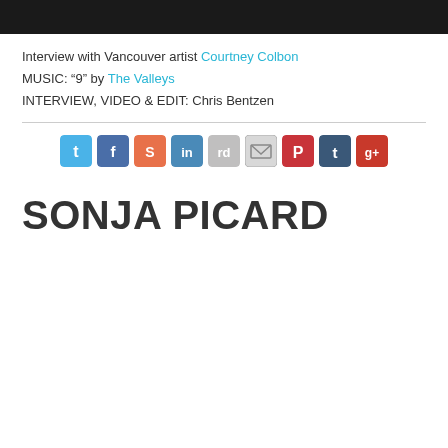[Figure (photo): Dark black/charcoal banner bar at the top of the page]
Interview with Vancouver artist Courtney Colbon
MUSIC: “9” by The Valleys
INTERVIEW, VIDEO & EDIT: Chris Bentzen
[Figure (infographic): A row of social media sharing icons: Twitter, Facebook, StumbleUpon, LinkedIn, Reddit, Email, Pinterest, Tumblr, Google+]
SONJA PICARD